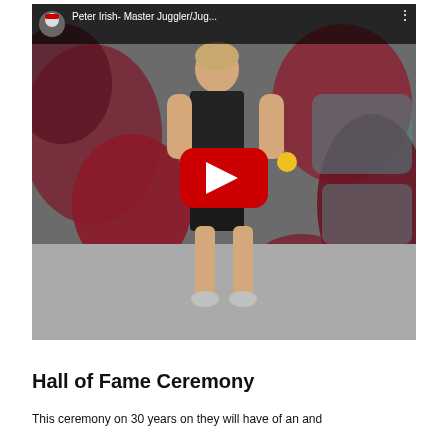[Figure (screenshot): YouTube video thumbnail showing a person in a black sleeveless shirt and black shorts standing in front of a colorful graffiti wall, juggling. The video title reads 'Peter Irish- Master Juggler/Jug...' with a red YouTube play button overlay in the center.]
Hall of Fame Ceremony
This ceremony on 30 years on they will have of an and